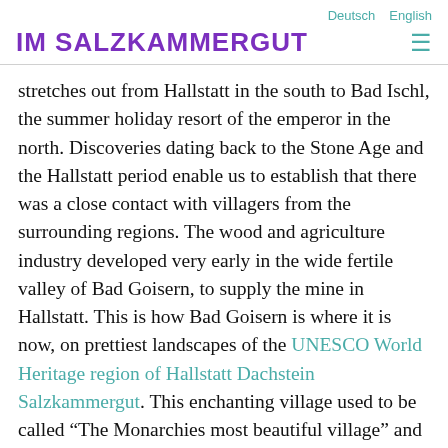IM SALZKAMMERGUT | Deutsch | English
stretches out from Hallstatt in the south to Bad Ischl, the summer holiday resort of the emperor in the north. Discoveries dating back to the Stone Age and the Hallstatt period enable us to establish that there was a close contact with villagers from the surrounding regions. The wood and agriculture industry developed very early in the wide fertile valley of Bad Goisern, to supply the mine in Hallstatt. This is how Bad Goisern is where it is now, on prettiest landscapes of the UNESCO World Heritage region of Hallstatt Dachstein Salzkammergut. This enchanting village used to be called “The Monarchies most beautiful village” and still hasn’t lost any of its charm. Among the most